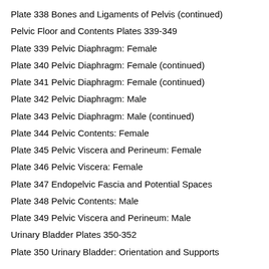Plate 338 Bones and Ligaments of Pelvis (continued)
Pelvic Floor and Contents Plates 339-349
Plate 339 Pelvic Diaphragm: Female
Plate 340 Pelvic Diaphragm: Female (continued)
Plate 341 Pelvic Diaphragm: Female (continued)
Plate 342 Pelvic Diaphragm: Male
Plate 343 Pelvic Diaphragm: Male (continued)
Plate 344 Pelvic Contents: Female
Plate 345 Pelvic Viscera and Perineum: Female
Plate 346 Pelvic Viscera: Female
Plate 347 Endopelvic Fascia and Potential Spaces
Plate 348 Pelvic Contents: Male
Plate 349 Pelvic Viscera and Perineum: Male
Urinary Bladder Plates 350-352
Plate 350 Urinary Bladder: Orientation and Supports